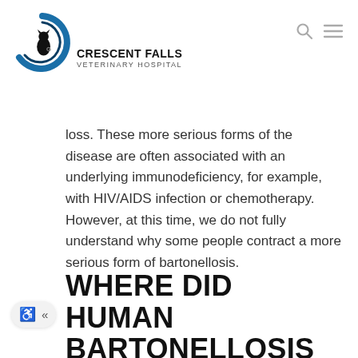[Figure (logo): Crescent Falls Veterinary Hospital logo — circular emblem with a crescent shape and animal silhouette in dark blue and black]
CRESCENT FALLS VETERINARY HOSPITAL
loss. These more serious forms of the disease are often associated with an underlying immunodeficiency, for example, with HIV/AIDS infection or chemotherapy. However, at this time, we do not fully understand why some people contract a more serious form of bartonellosis.
WHERE DID HUMAN BARTONELLOSIS